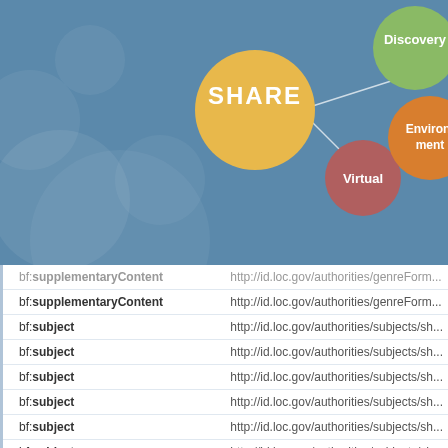[Figure (infographic): Network diagram with colored circles: large yellow 'SHARE' circle connected to smaller red 'Virtual' circle, green 'Discovery' circle, and orange 'Environment' circle, on a blue background with decorative translucent circles]
| Property | Value |
| --- | --- |
| bf:supplementaryContent | http://id.loc.gov/authorities/genreForm... |
| bf:supplementaryContent | http://id.loc.gov/authorities/genreForm... |
| bf:subject | http://id.loc.gov/authorities/subjects/sh... |
| bf:subject | http://id.loc.gov/authorities/subjects/sh... |
| bf:subject | http://id.loc.gov/authorities/subjects/sh... |
| bf:subject | http://id.loc.gov/authorities/subjects/sh... |
| bf:subject | http://id.loc.gov/authorities/subjects/sh... |
| bf:subject | http://id.loc.gov/authorities/subjects/sh... |
| bf:genreForm | http://id.loc.gov/vocabulary/marcgt/au... |
| bf:genreForm | http://id.loc.gov/vocabulary/marcgt/au... |